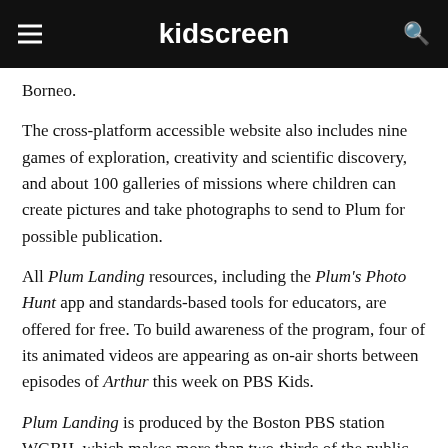kidscreen
Borneo.
The cross-platform accessible website also includes nine games of exploration, creativity and scientific discovery, and about 100 galleries of missions where children can create pictures and take photographs to send to Plum for possible publication.
All Plum Landing resources, including the Plum's Photo Hunt app and standards-based tools for educators, are offered for free. To build awareness of the program, four of its animated videos are appearing as on-air shorts between episodes of Arthur this week on PBS Kids.
Plum Landing is produced by the Boston PBS station WGBH, which makes more than two-thirds of the public television broadcaster's nationally-distributed shows, including Nova, Frontline, Masterpiece, American